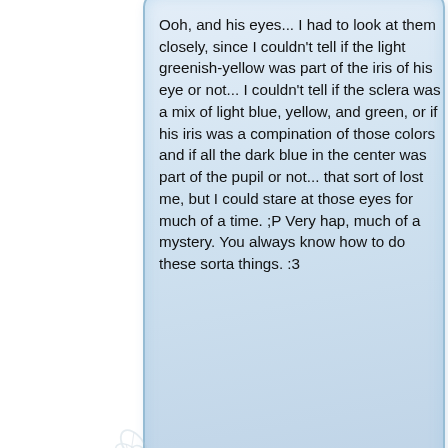Ooh, and his eyes... I had to look at them closely, since I couldn't tell if the light greenish-yellow was part of the iris of his eye or not... I couldn't tell if the sclera was a mix of light blue, yellow, and green, or if his iris was a compination of those colors and if all the dark blue in the center was part of the pupil or not... that sort of lost me, but I could stare at those eyes for much of a time. ;P Very hap, much of a mystery. You always know how to do these sorta things. :3
[Figure (illustration): Decorative snowflake/leaf ornament between comment cards]
Tobias
Dec 2, 2005
Hiya Nishi ;P

Thanks for your comment ^^ Actually a character without arms and hands isn't *that* original, but still, Jackie's a character I like quite a bit ;P No idea how much I'll draw him (I never know what my next drawing will be amount), but we'll see, right?
I know what you mean with the wings...